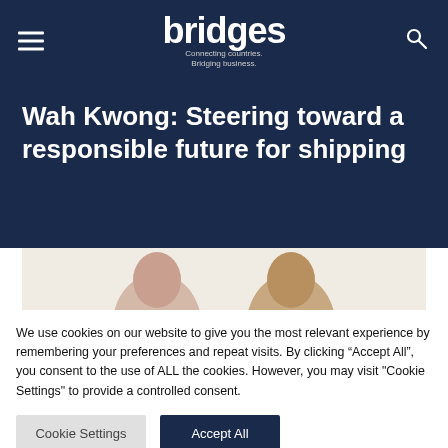bridges — Connecting countries. Bridging business.
Wah Kwong: Steering toward a responsible future for shipping
[Figure (photo): Two people shown from the shoulders up against a light beige background, partially visible]
We use cookies on our website to give you the most relevant experience by remembering your preferences and repeat visits. By clicking "Accept All", you consent to the use of ALL the cookies. However, you may visit "Cookie Settings" to provide a controlled consent.
Cookie Settings
Accept All